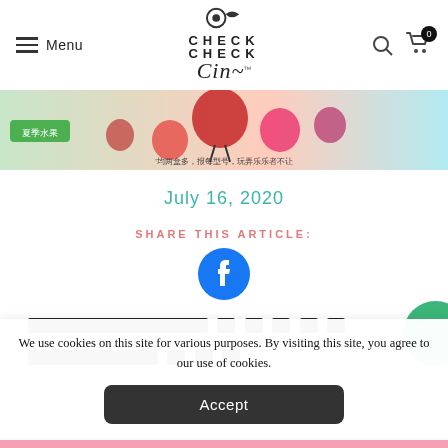Menu | CHECK CHECK Cin™ | [search icon] | [cart icon 0]
[Figure (illustration): Colorful cartoon summer fruit characters banner with Chinese text '夏季水果' and subtitle characters]
July 16, 2020
SHARE THIS ARTICLE:
[Figure (logo): Facebook share button icon (blue circle with white f)]
█████████████████ (redacted text line 1)
████████████ (redacted text line 2)
We use cookies on this site for various purposes. By visiting this site, you agree to our use of cookies.
Accept